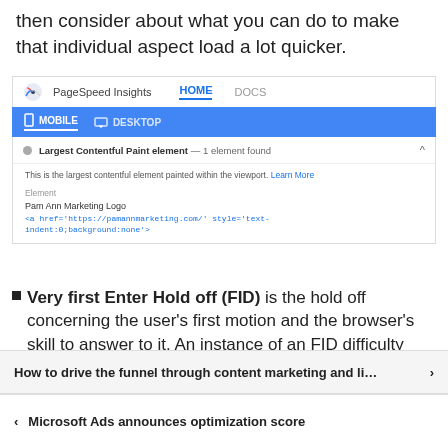then consider about what you can do to make that individual aspect load a lot quicker.
[Figure (screenshot): Screenshot of PageSpeed Insights tool showing the Largest Contentful Paint element panel with MOBILE/DESKTOP tabs (blue bar), a result showing 'Largest Contentful Paint element — 1 element found', description text 'This is the largest contentful element painted within the viewport. Learn More', Element label 'Pam Ann Marketing Logo' and code '<a href=https://pamannmarketing.com/ style=text-indent:0;background:none>']
Very first Enter Hold off (FID) is the hold off concerning the user's first motion and the browser's skill to answer to it. An instance of an FID difficulty would be a button that is obvious to a user faster than it becomes clickable. The delay would be caused by the click operation loading notably later on than the button by itself.
How to drive the funnel through content marketing and li…
Microsoft Ads announces optimization score